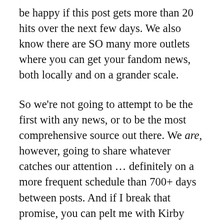be happy if this post gets more than 20 hits over the next few days. We also know there are SO many more outlets where you can get your fandom news, both locally and on a grander scale.
So we're not going to attempt to be the first with any news, or to be the most comprehensive source out there. We are, however, going to share whatever catches our attention … definitely on a more frequent schedule than 700+ days between posts. And if I break that promise, you can pelt me with Kirby merchandise whenever you see me in person to get me to write more. I'll be sure to send Wilma occasional steaks, bowls of ramen,